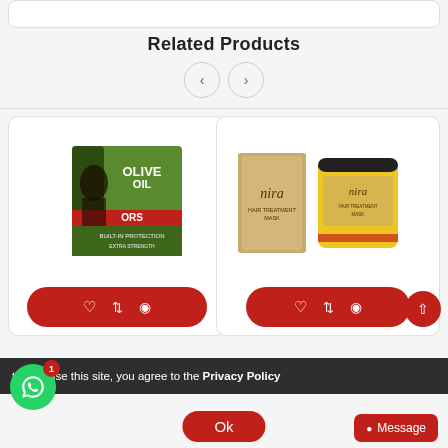Related Products
[Figure (screenshot): Navigation arrows (left and right) for carousel]
[Figure (photo): ORS Olive Oil hair relaxer product box - green box with woman's hair image]
[Figure (photo): Nira hair treatment mask - kraft box and yellow tub]
tinuing use this site, you agree to the Privacy Policy
Ok
Message